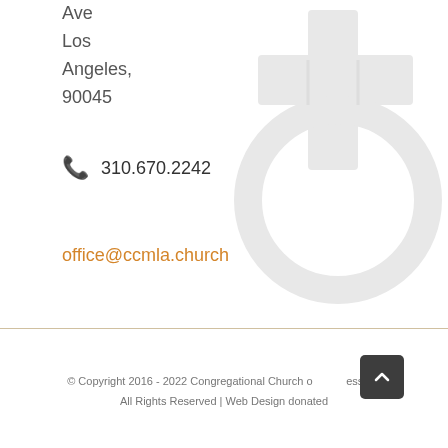Ave
Los
Angeles,
90045
310.670.2242
office@ccmla.church
[Figure (logo): Light gray decorative church logo/cross watermark in upper right corner]
© Copyright 2016 - 2022 Congregational Church of the Messiah|
All Rights Reserved | Web Design donated